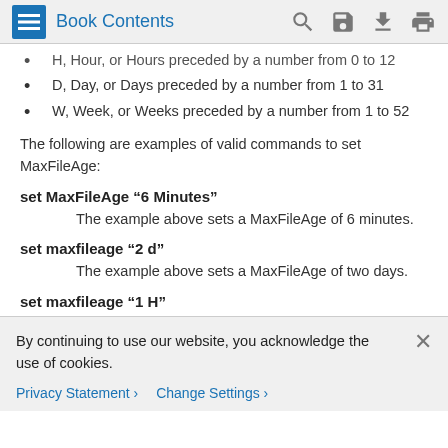Book Contents
H, Hour, or Hours preceded by a number from 0 to 12
D, Day, or Days preceded by a number from 1 to 31
W, Week, or Weeks preceded by a number from 1 to 52
The following are examples of valid commands to set MaxFileAge:
set MaxFileAge “6 Minutes”
The example above sets a MaxFileAge of 6 minutes.
set maxfileage “2 d”
The example above sets a MaxFileAge of two days.
set maxfileage “1 H”
By continuing to use our website, you acknowledge the use of cookies.
Privacy Statement > Change Settings >